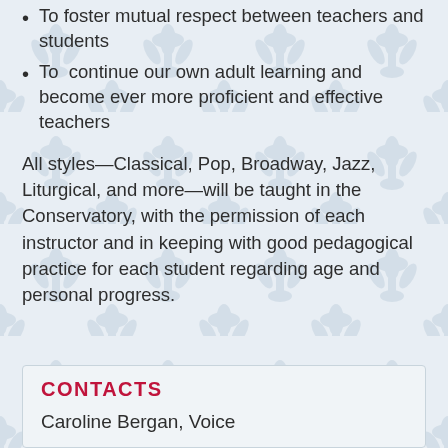To foster mutual respect between teachers and students
To continue our own adult learning and become ever more proficient and effective teachers
All styles—Classical, Pop, Broadway, Jazz, Liturgical, and more—will be taught in the Conservatory, with the permission of each instructor and in keeping with good pedagogical practice for each student regarding age and personal progress.
CONTACTS
Caroline Bergan, Voice